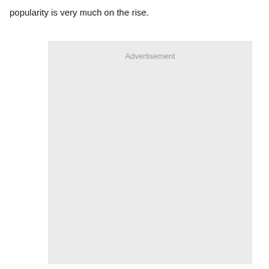popularity is very much on the rise.
[Figure (other): Advertisement placeholder box with light grey background and 'Advertisement' label at top center]